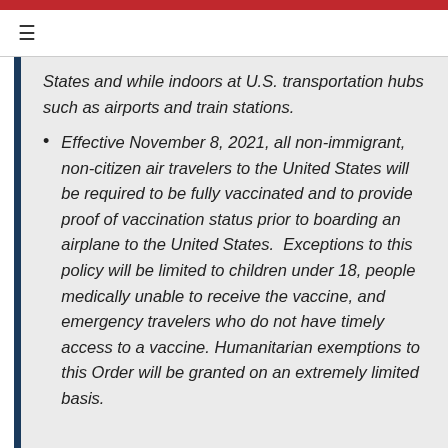≡
States and while indoors at U.S. transportation hubs such as airports and train stations.
Effective November 8, 2021, all non-immigrant, non-citizen air travelers to the United States will be required to be fully vaccinated and to provide proof of vaccination status prior to boarding an airplane to the United States.  Exceptions to this policy will be limited to children under 18, people medically unable to receive the vaccine, and emergency travelers who do not have timely access to a vaccine. Humanitarian exemptions to this Order will be granted on an extremely limited basis.